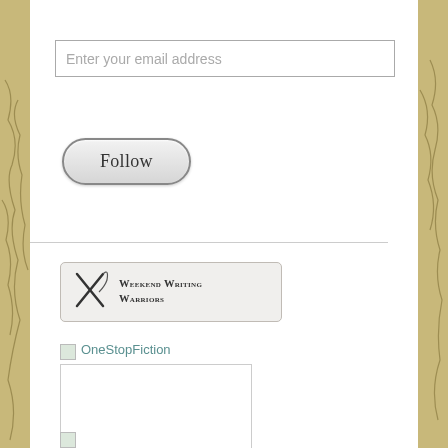[Figure (screenshot): Email input field with placeholder text 'Enter your email address']
[Figure (screenshot): Follow button with rounded pill shape]
[Figure (logo): Weekend Writing Warriors banner button with crossed quill pen icon and small-caps text]
[Figure (screenshot): OneStopFiction broken image link with teal text label and large white image placeholder box]
[Figure (screenshot): Partial broken image icon at bottom of page]